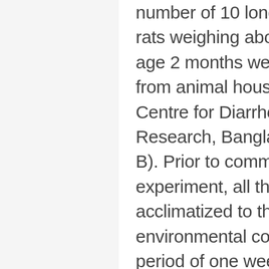number of 10 long Evans male rats weighing about 150-180gm, age 2 months were purchased from animal house of International Centre for Diarrhoeal Disease Research, Bangladesh (ICDDR, B). Prior to commencement of the experiment, all the rats were acclimatized to the new environmental condition for a period of one week. During the experimental period the rats were kept in a well ventilated animal house at room temperature of 25°C and were supplied with standard pellets supplied from ICDDR, B and fresh drinking water. All the rats were kept in cages with wide square mesh at bottom to